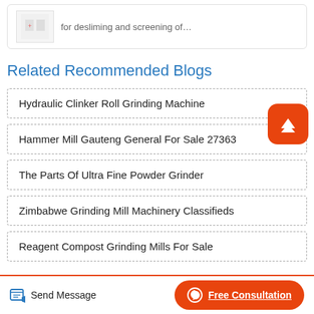[Figure (other): Partial card with images and text snippet: 'for desliming and screening of...']
Related Recommended Blogs
Hydraulic Clinker Roll Grinding Machine
Hammer Mill Gauteng General For Sale 27363
The Parts Of Ultra Fine Powder Grinder
Zimbabwe Grinding Mill Machinery Classifieds
Reagent Compost Grinding Mills For Sale
Send Message    Free Consultation